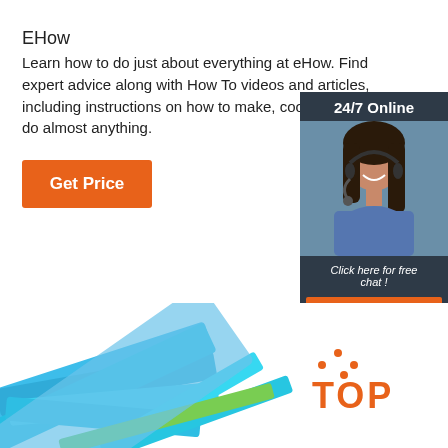EHow
Learn how to do just about everything at eHow. Find expert advice along with How To videos and articles, including instructions on how to make, cook, grow, or do almost anything.
[Figure (infographic): Orange 'Get Price' button on white background]
[Figure (infographic): Ad panel with '24/7 Online' header, photo of woman with headset, 'Click here for free chat!' text, and orange QUOTATION button]
[Figure (infographic): Bottom decorative image of blue paper/folders and a red/orange TOP logo with orange dots above it in the bottom right]